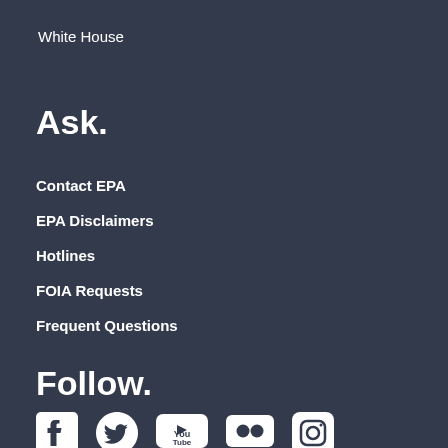White House
Ask.
Contact EPA
EPA Disclaimers
Hotlines
FOIA Requests
Frequent Questions
Follow.
[Figure (illustration): Social media icons: Facebook, Twitter, YouTube, Flickr, Instagram]